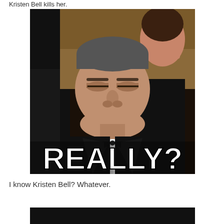Kristen Bell kills her.
[Figure (photo): A meme image showing a man in a tuxedo with a skeptical/disbelieving expression at what appears to be a formal event, with a woman visible behind him. Large white bold text at the bottom of the image reads 'REALLY?']
I know Kristen Bell? Whatever.
[Figure (photo): A partially visible dark/black image at the bottom of the page, cropped off.]